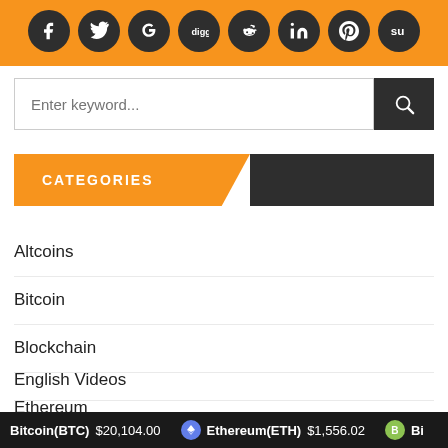[Figure (other): Social media share buttons row (Facebook, Twitter, Google+, Digg, Reddit, LinkedIn, Pinterest, StumbleUpon) on orange background]
[Figure (other): Search input field with dark search button]
CATEGORIES
Altcoins
Bitcoin
Blockchain
English Videos
Ethereum
Events
Bitcoin(BTC) $20,104.00   Ethereum(ETH) $1,556.02   Bi...